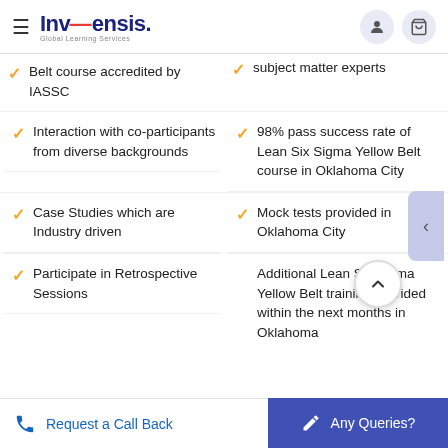Invensis Global Learning Services
Belt course accredited by IASSC
subject matter experts
Interaction with co-participants from diverse backgrounds
98% pass success rate of Lean Six Sigma Yellow Belt course in Oklahoma City
Case Studies which are Industry driven
Mock tests provided in Oklahoma City
Participate in Retrospective Sessions
Additional Lean Six Sigma Yellow Belt training provided within the next months in Oklahoma
Request a Call Back   Any Queries?